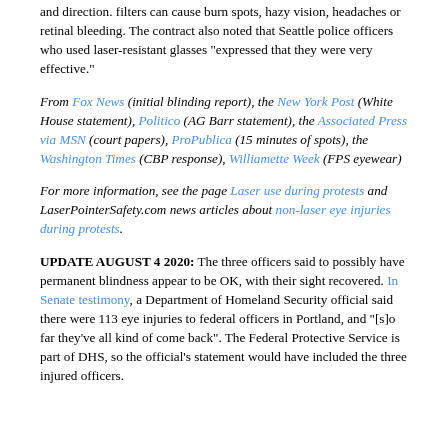and direction. filters can cause burn spots, hazy vision, headaches or retinal bleeding. The contract also noted that Seattle police officers who used laser-resistant glasses "expressed that they were very effective."
From Fox News (initial blinding report), the New York Post (White House statement), Politico (AG Barr statement), the Associated Press via MSN (court papers), ProPublica (15 minutes of spots), the Washington Times (CBP response), Williamette Week (FPS eyewear)
For more information, see the page Laser use during protests and LaserPointerSafety.com news articles about non-laser eye injuries during protests.
UPDATE AUGUST 4 2020: The three officers said to possibly have permanent blindness appear to be OK, with their sight recovered. In Senate testimony, a Department of Homeland Security official said there were 113 eye injuries to federal officers in Portland, and "[s]o far they've all kind of come back". The Federal Protective Service is part of DHS, so the official's statement would have included the three injured officers.